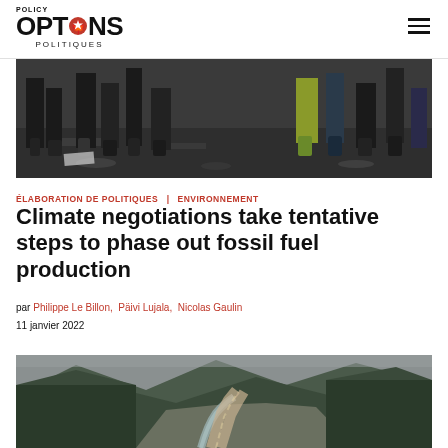[Figure (logo): Policy Options Politiques logo with maple leaf in the O]
[Figure (photo): Crowd of people's legs and feet on a wet rainy street, protest scene]
ÉLABORATION DE POLITIQUES | ENVIRONNEMENT
Climate negotiations take tentative steps to phase out fossil fuel production
par Philippe Le Billon, Päivi Lujala, Nicolas Gaulin
11 janvier 2022
[Figure (photo): Aerial view of a winding river valley with a highway and forested mountains, overcast sky]